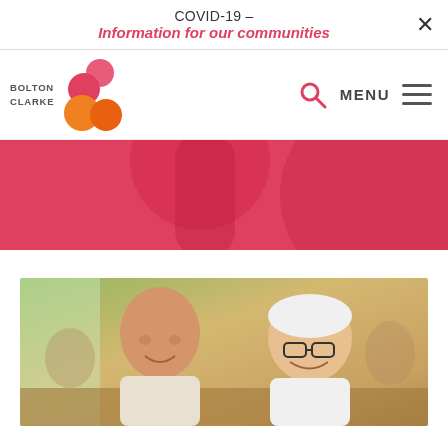COVID-19 - Information for our communities
[Figure (logo): Bolton Clarke logo with colorful circle shapes and text]
[Figure (photo): Elderly couple smiling and laughing together indoors]